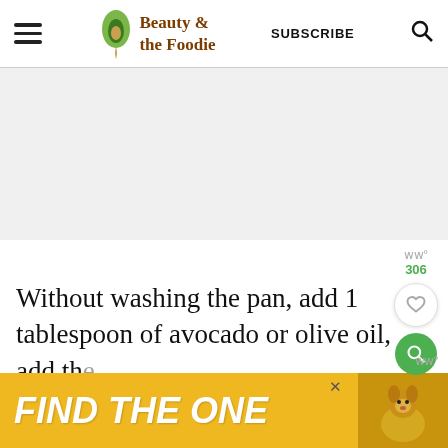Beauty & the Foodie | SUBSCRIBE
[Figure (other): Advertisement placeholder area (grey box)]
Without washing the pan, add 1 tablespoon of avocado or olive oil, add the onions and sauteé for two minutes, add th... m...
[Figure (other): Advertisement banner: FIND THE ONE with dog image]